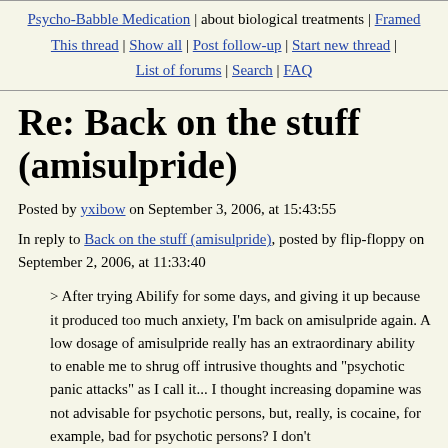Psycho-Babble Medication | about biological treatments | Framed | This thread | Show all | Post follow-up | Start new thread | List of forums | Search | FAQ
Re: Back on the stuff (amisulpride)
Posted by yxibow on September 3, 2006, at 15:43:55
In reply to Back on the stuff (amisulpride), posted by flip-floppy on September 2, 2006, at 11:33:40
> After trying Abilify for some days, and giving it up because it produced too much anxiety, I'm back on amisulpride again. A low dosage of amisulpride really has an extraordinary ability to enable me to shrug off intrusive thoughts and "psychotic panic attacks" as I call it... I thought increasing dopamine was not advisable for psychotic persons, but, really, is cocaine, for example, bad for psychotic persons? I don't